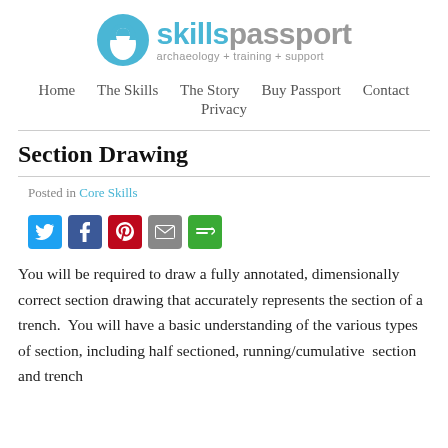[Figure (logo): Skills Passport logo with blue circle/arch icon, teal 'skills' text, grey 'passport' text, and grey tagline 'archaeology + training + support']
Home   The Skills   The Story   Buy Passport   Contact   Privacy
Section Drawing
Posted in Core Skills
[Figure (infographic): Row of social sharing icons: Twitter (blue), Facebook (dark blue), Pinterest (red), Email (grey), More (green)]
You will be required to draw a fully annotated, dimensionally correct section drawing that accurately represents the section of a trench.  You will have a basic understanding of the various types of section, including half sectioned, running/cumulative  section and trench